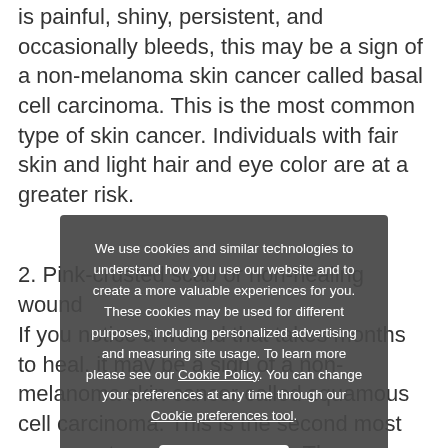is painful, shiny, persistent, and occasionally bleeds, this may be a sign of a non-melanoma skin cancer called basal cell carcinoma. This is the most common type of skin cancer. Individuals with fair skin and light hair and eye color are at a greater risk.
2. Pink-crusted scab or non-healing wound
If you notice a wound that takes months to heal, it may be a sign of a non-melanoma skin cancer called squamous cell carcinoma. This is the second most common type of skin cancer. These lesions may even initially present as rough sandpaper spots and then progress to thicker, crusted growths. They may be painful or bleed without any
We use cookies and similar technologies to understand how you use our website and to create a more valuable experiences for you. These cookies may be used for different purposes, including personalized advertising and measuring site usage. To learn more please see our Cookie Policy. You can change your preferences at any time through our Cookie preferences tool.